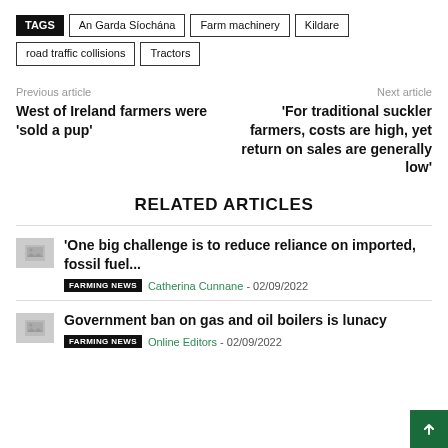TAGS | An Garda Síochána | Farm machinery | Kildare | road traffic collisions | Tractors
Previous article
Next article
West of Ireland farmers were 'sold a pup'
'For traditional suckler farmers, costs are high, yet return on sales are generally low'
RELATED ARTICLES
[Figure (photo): Placeholder image thumbnail for related article 1]
'One big challenge is to reduce reliance on imported, fossil fuel...
FARMING NEWS Catherina Cunnane - 02/09/2022
[Figure (photo): Placeholder image thumbnail for related article 2]
Government ban on gas and oil boilers is lunacy
FARMING NEWS Online Editors - 02/09/2022